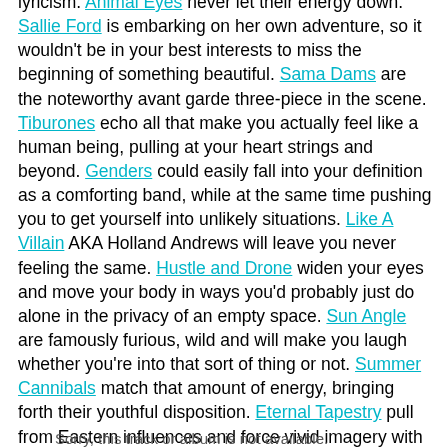lyricism. Animal Eyes never let their energy down. Sallie Ford is embarking on her own adventure, so it wouldn't be in your best interests to miss the beginning of something beautiful. Sama Dams are the noteworthy avant garde three-piece in the scene. Tiburones echo all that make you actually feel like a human being, pulling at your heart strings and beyond. Genders could easily fall into your definition as a comforting band, while at the same time pushing you to get yourself into unlikely situations. Like A Villain AKA Holland Andrews will leave you never feeling the same. Hustle and Drone widen your eyes and move your body in ways you'd probably just do alone in the privacy of an empty space. Sun Angle are famously furious, wild and will make you laugh whether you're into that sort of thing or not. Summer Cannibals match that amount of energy, bringing forth their youthful disposition. Eternal Tapestry pull from Eastern influences and force vivid imagery with or without actual projections. Wooden Indian Burial Ground aggressively shakes your world close to oblivion. Aan will bring you back and Magic Mouth will allow you to gently waltz back into the real world.
This year's festival will be one to remember. - Colette Pomerleau
Sorry, this track or album is not available.